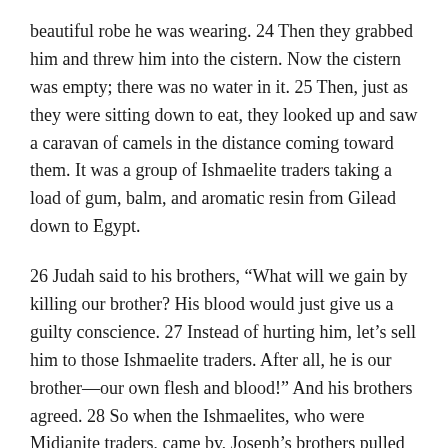beautiful robe he was wearing. 24 Then they grabbed him and threw him into the cistern. Now the cistern was empty; there was no water in it. 25 Then, just as they were sitting down to eat, they looked up and saw a caravan of camels in the distance coming toward them. It was a group of Ishmaelite traders taking a load of gum, balm, and aromatic resin from Gilead down to Egypt.
26 Judah said to his brothers, "What will we gain by killing our brother? His blood would just give us a guilty conscience. 27 Instead of hurting him, let's sell him to those Ishmaelite traders. After all, he is our brother—our own flesh and blood!" And his brothers agreed. 28 So when the Ishmaelites, who were Midianite traders, came by, Joseph's brothers pulled him out of the cistern and sold him to them for twenty pieces* of silver. And the traders took him to Egypt.